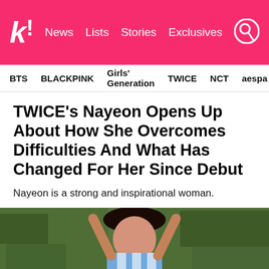Koreaboo - News | Lists | Stories | Exclusives
BTS  BLACKPINK  Girls' Generation  TWICE  NCT  aespa
TWICE's Nayeon Opens Up About How She Overcomes Difficulties And What Has Changed For Her Since Debut
Nayeon is a strong and inspirational woman.
[Figure (photo): Photo of TWICE member Nayeon lying on grass in a blue and white outfit, arms raised above her head]